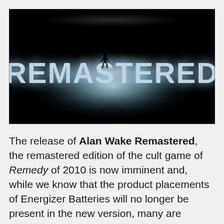[Figure (screenshot): Dark cinematic title card showing the word REMASTERED in large stylized letters with a glowing light effect and a silhouetted figure in the center, set against a dark foggy background.]
The release of Alan Wake Remastered, the remastered edition of the cult game of Remedy of 2010 is now imminent and, while we know that the product placements of Energizer Batteries will no longer be present in the new version, many are wondering what the actual